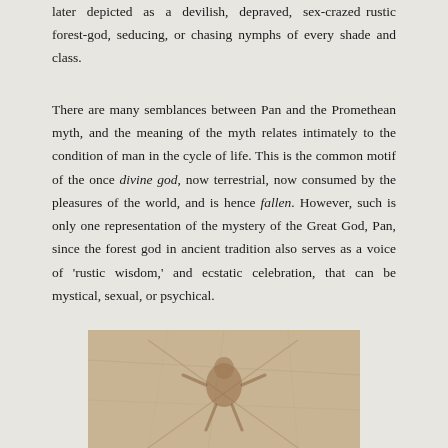later depicted as a devilish, depraved, sex-crazed rustic forest-god, seducing, or chasing nymphs of every shade and class.
There are many semblances between Pan and the Promethean myth, and the meaning of the myth relates intimately to the condition of man in the cycle of life. This is the common motif of the once divine god, now terrestrial, now consumed by the pleasures of the world, and is hence fallen. However, such is only one representation of the mystery of the Great God, Pan, since the forest god in ancient tradition also serves as a voice of 'rustic wisdom,' and ecstatic celebration, that can be mystical, sexual, or psychical.
[Figure (photo): Ancient fresco or wall painting depicting Pan or a similar deity figure, shown against a cracked, aged stone or plaster background in warm beige and brown tones.]